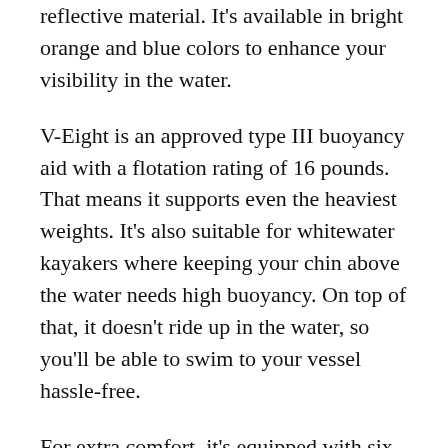reflective material. It's available in bright orange and blue colors to enhance your visibility in the water.
V-Eight is an approved type III buoyancy aid with a flotation rating of 16 pounds. That means it supports even the heaviest weights. It's also suitable for whitewater kayakers where keeping your chin above the water needs high buoyancy. On top of that, it doesn't ride up in the water, so you'll be able to swim to your vessel hassle-free.
For extra comfort, it's equipped with six adjustable buckles on the shoulders and sides. At the front, you'll find two large zippered pockets to store your snacks and small gear, though not big enough to hold your smartphone.